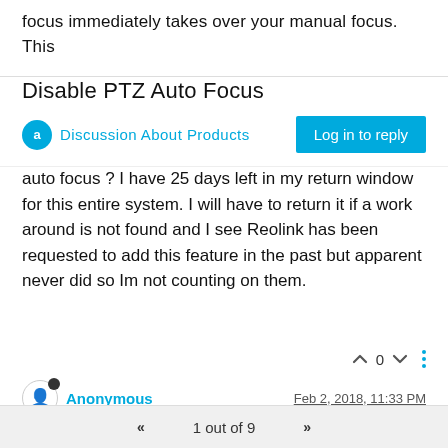focus immediately takes over your manual focus. This
Disable PTZ Auto Focus
Discussion About Products
Log in to reply
auto focus ? I have 25 days left in my return window for this entire system. I will have to return it if a work around is not found and I see Reolink has been requested to add this feature in the past but apparent never did so Im not counting on them.
0
Anonymous
Feb 2, 2018, 11:33 PM
So it seems the best way to get response is by email. Reolink replied to me when I asked why their
1 out of 9